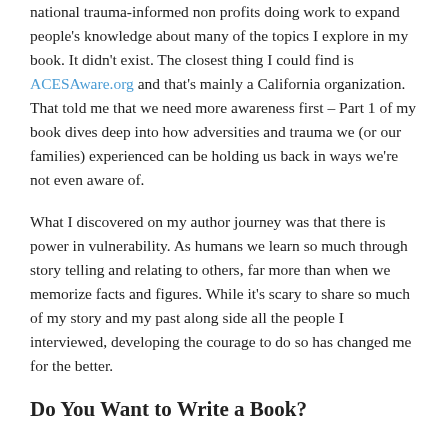national trauma-informed non profits doing work to expand people's knowledge about many of the topics I explore in my book. It didn't exist. The closest thing I could find is ACESAware.org and that's mainly a California organization. That told me that we need more awareness first – Part 1 of my book dives deep into how adversities and trauma we (or our families) experienced can be holding us back in ways we're not even aware of.
What I discovered on my author journey was that there is power in vulnerability. As humans we learn so much through story telling and relating to others, far more than when we memorize facts and figures. While it's scary to share so much of my story and my past along side all the people I interviewed, developing the courage to do so has changed me for the better.
Do You Want to Write a Book?